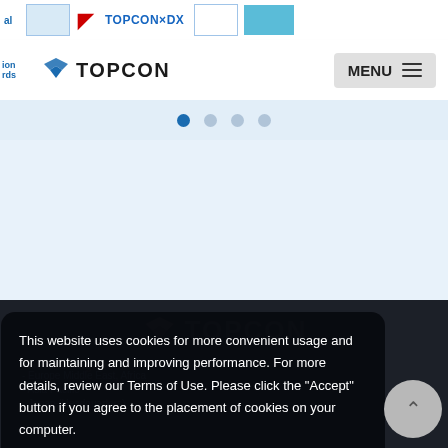TOPCON navigation bar with logo and MENU button
[Figure (screenshot): Topcon website navigation bar showing logo, MENU button, and carousel strip with pagination dots]
[Figure (logo): TOPCON logo in dark footer section]
Select Region
- Europe Middle East, Africa
- Asia Pacific
- Japan (Headquarters)
This website uses cookies for more convenient usage and for maintaining and improving performance. For more details, review our Terms of Use. Please click the "Accept" button if you agree to the placement of cookies on your computer.
Learn more
Accept